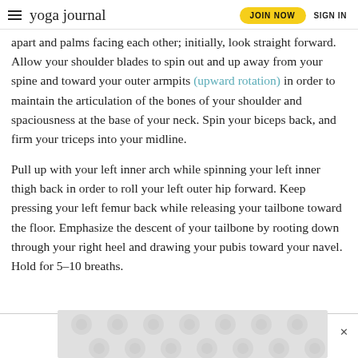yoga journal | JOIN NOW | SIGN IN
apart and palms facing each other; initially, look straight forward. Allow your shoulder blades to spin out and up away from your spine and toward your outer armpits (upward rotation) in order to maintain the articulation of the bones of your shoulder and spaciousness at the base of your neck. Spin your biceps back, and firm your triceps into your midline.
Pull up with your left inner arch while spinning your left inner thigh back in order to roll your left outer hip forward. Keep pressing your left femur back while releasing your tailbone toward the floor. Emphasize the descent of your tailbone by rooting down through your right heel and drawing your pubis toward your navel. Hold for 5–10 breaths.
[Figure (other): Advertisement banner placeholder with dotted/circular pattern]